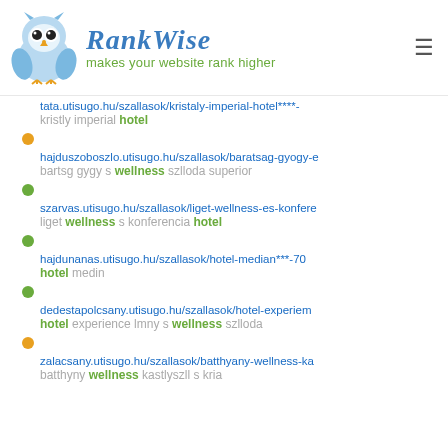RankWise — makes your website rank higher
tata.utisugo.hu/szallasok/kristaly-imperial-hotel****-
kristly imperial hotel
hajduszoboszlo.utisugo.hu/szallasok/baratsag-gyogy-e
bartsg gygy s wellness szlloda superior
szarvas.utisugo.hu/szallasok/liget-wellness-es-konfere
liget wellness s konferencia hotel
hajdunanas.utisugo.hu/szallasok/hotel-median***-70
hotel medin
dedestapolcsany.utisugo.hu/szallasok/hotel-experiem
hotel experience lmny s wellness szlloda
zalacsany.utisugo.hu/szallasok/batthyany-wellness-ka
batthyny wellness kastlyszll s kria